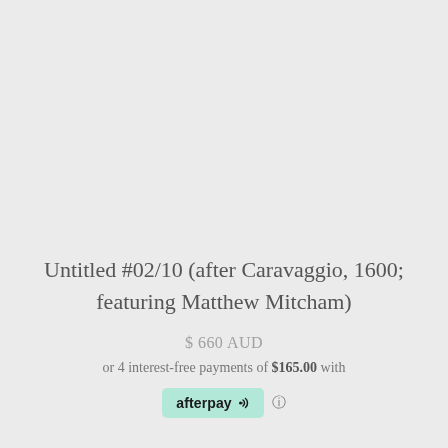Untitled #02/10 (after Caravaggio, 1600; featuring Matthew Mitcham)
$ 660 AUD
or 4 interest-free payments of $165.00 with
[Figure (logo): Afterpay logo badge in mint green/teal background with text 'afterpay' and a link icon, followed by an info icon]